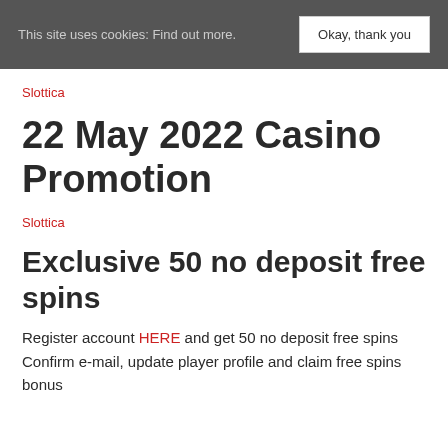This site uses cookies: Find out more.  Okay, thank you
Slottica
22 May 2022 Casino Promotion
Slottica
Exclusive 50 no deposit free spins
Register account HERE and get 50 no deposit free spins Confirm e-mail, update player profile and claim free spins bonus